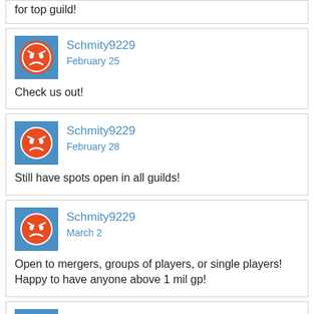for top guild!
Schmity9229
February 25

Check us out!
Schmity9229
February 28

Still have spots open in all guilds!
Schmity9229
March 2

Open to mergers, groups of players, or single players! Happy to have anyone above 1 mil gp!
Schmity9229